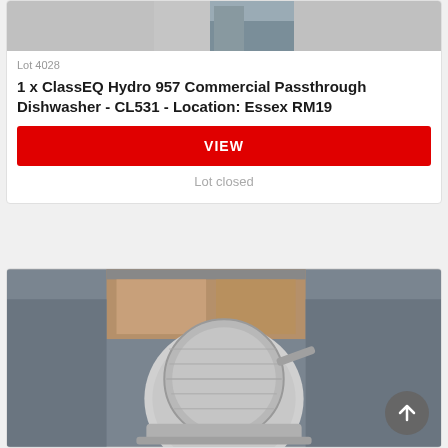[Figure (photo): Partial photo of a commercial dishwasher, top of card]
Lot 4028
1 x ClassEQ Hydro 957 Commercial Passthrough Dishwasher - CL531 - Location: Essex RM19
VIEW
Lot closed
[Figure (photo): Photo of a commercial meat slicer in a warehouse/storage setting]